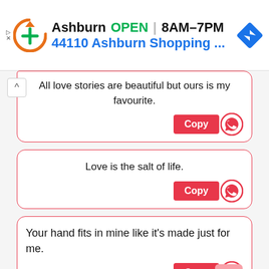[Figure (screenshot): Mobile app advertisement banner showing a business logo with orange circular arrow and green plus sign, text 'Ashburn OPEN 8AM-7PM' and '44110 Ashburn Shopping ...' with a blue navigation diamond icon]
All love stories are beautiful but ours is my favourite.
Love is the salt of life.
Your hand fits in mine like it's made just for me.